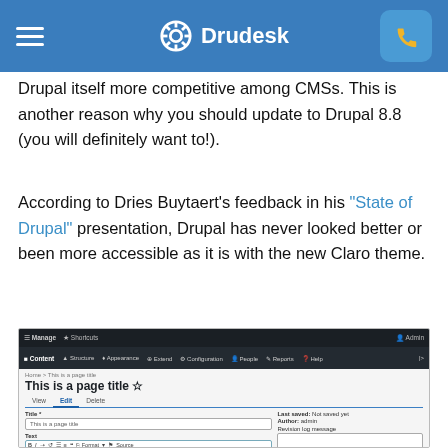Drudesk
Drupal itself more competitive among CMSs. This is another reason why you should update to Drupal 8.8 (you will definitely want to!).
According to Dries Buytaert's feedback in his "State of Drupal" presentation, Drupal has never looked better or been more accessible as it is with the new Claro theme.
[Figure (screenshot): Screenshot of the Drupal admin interface showing the Claro theme with a page titled 'This is a page title', with Edit tab active, fields for Title and Text body content, and sidebar showing Last saved, Author, Revision log message, Menu settings, and URL alias options.]